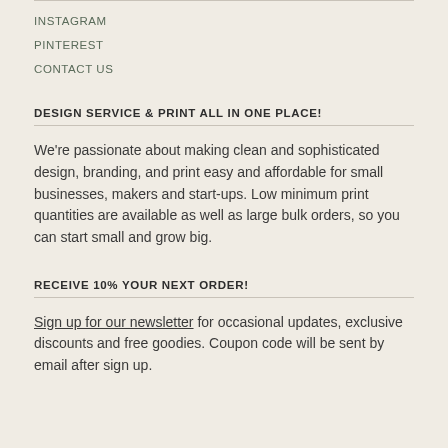INSTAGRAM
PINTEREST
CONTACT US
DESIGN SERVICE & PRINT ALL IN ONE PLACE!
We're passionate about making clean and sophisticated design, branding, and print easy and affordable for small businesses, makers and start-ups. Low minimum print quantities are available as well as large bulk orders, so you can start small and grow big.
RECEIVE 10% YOUR NEXT ORDER!
Sign up for our newsletter for occasional updates, exclusive discounts and free goodies. Coupon code will be sent by email after sign up.